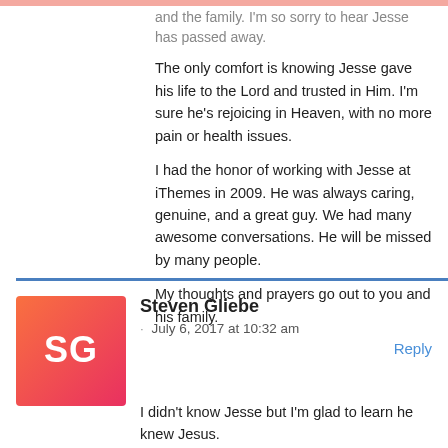and the family. I'm so sorry to hear Jesse has passed away. The only comfort is knowing Jesse gave his life to the Lord and trusted in Him. I'm sure he's rejoicing in Heaven, with no more pain or health issues.
I had the honor of working with Jesse at iThemes in 2009. He was always caring, genuine, and a great guy. We had many awesome conversations. He will be missed by many people.
My thoughts and prayers go out to you and his family.
Reply
[Figure (illustration): Avatar for Steven Gliebe — orange to pink gradient square with rounded corners containing stylized letters SG]
Steven Gliebe
· July 6, 2017 at 10:32 am
I didn't know Jesse but I'm glad to learn he knew Jesus.
God bless you, Petersen family.
Reply